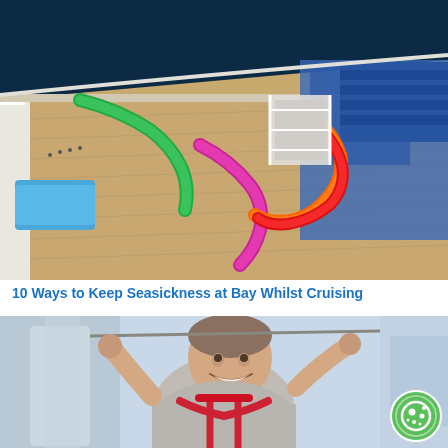[Figure (photo): Aerial view of a cruise ship deck showing colorful water slides in green, pink, orange, and red spiraling around the ship deck, with dark ocean water visible and ship amenities including pools and recreational areas.]
10 Ways to Keep Seasickness at Bay Whilst Cruising
[Figure (photo): Close-up photo of a smiling middle-aged man in a grey t-shirt wearing a red harness/safety equipment, likely on a zip line or adventure activity on a cruise ship. A cookie consent icon is visible in the bottom right corner.]